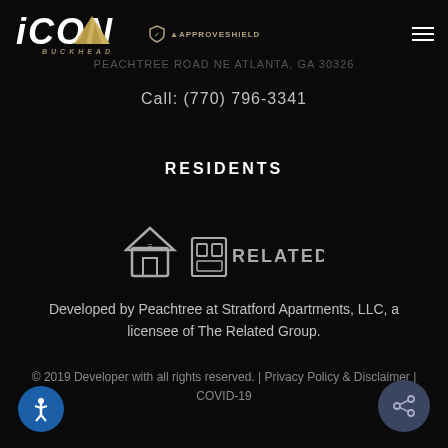[Figure (logo): ICON Buckhead logo with gold triangle and ApproveShield badge, plus hamburger menu on right]
PEACHTREE ROAD NE ATLANTA, GA 30326
Call: (770) 796-3341
RESIDENTS
[Figure (infographic): Equal housing opportunity icon and Related company logo icon]
Developed by Peachtree at Stratford Apartments, LLC, a licensee of The Related Group.
© 2019 Developer with all rights reserved. | Privacy Policy & Disclaimer | COVID-19